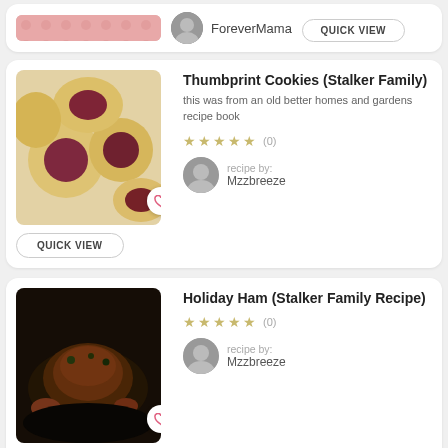[Figure (photo): Partial recipe card at top showing food image (red/pink tablecloth) and ForeverMama author with Quick View button]
ForeverMama
[Figure (photo): Thumbprint cookies with dark jam centers on a plate]
Thumbprint Cookies (Stalker Family)
this was from an old better homes and gardens recipe book
★★★★★ (0)
recipe by: Mzzbreeze
[Figure (photo): Holiday ham with herbs and roasted vegetables on a dark plate]
Holiday Ham (Stalker Family Recipe)
★★★★★ (0)
recipe by: Mzzbreeze
[Figure (photo): Roasted root vegetables, partial view at bottom]
Roasted Root Vegetables With Pear Glaze
A delicious way to roast veggies. We loved